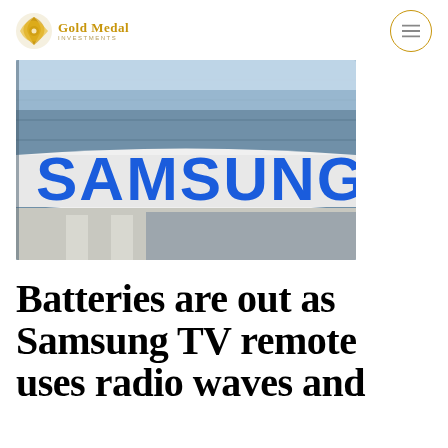Gold Medal Investments
[Figure (photo): Samsung building exterior with large blue SAMSUNG sign on white curved facade, glass office building in background, blue sky]
Batteries are out as Samsung TV remote uses radio waves and